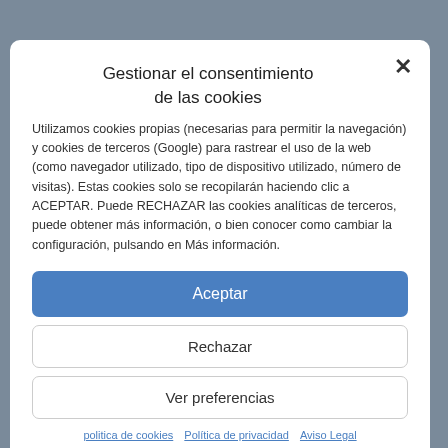Gestionar el consentimiento de las cookies
Utilizamos cookies propias (necesarias para permitir la navegación) y cookies de terceros (Google) para rastrear el uso de la web (como navegador utilizado, tipo de dispositivo utilizado, número de visitas). Estas cookies solo se recopilarán haciendo clic a ACEPTAR. Puede RECHAZAR las cookies analíticas de terceros, puede obtener más información, o bien conocer como cambiar la configuración, pulsando en Más información.
Aceptar
Rechazar
Ver preferencias
politica de cookies   Política de privacidad   Aviso Legal